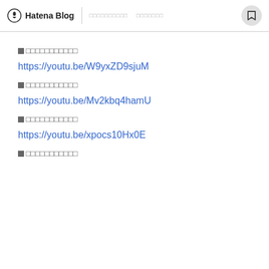Hatena Blog
■□□□□□□□□□□
https://youtu.be/W9yxZD9sjuM
■□□□□□□□□□□
https://youtu.be/Mv2kbq4hamU
■□□□□□□□□□□
https://youtu.be/xpocs10Hx0E
■□□□□□□□□□□